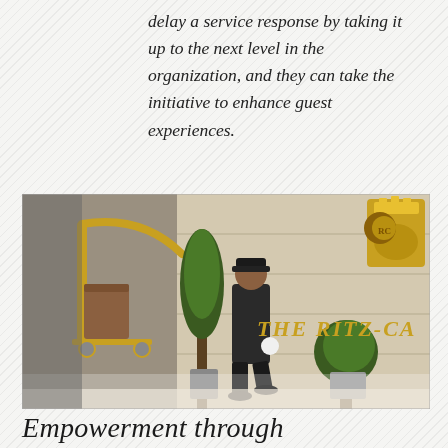delay a service response by taking it up to the next level in the organization, and they can take the initiative to enhance guest experiences.
[Figure (photo): A hotel doorman or bellhop in a dark suit walking past a large stone wall with 'THE RITZ-CA[RLTON]' lettered in gold, with a golden luggage cart, green topiary plants, and the Ritz-Carlton lion and crown logo visible in gold at upper right.]
Empowerment through